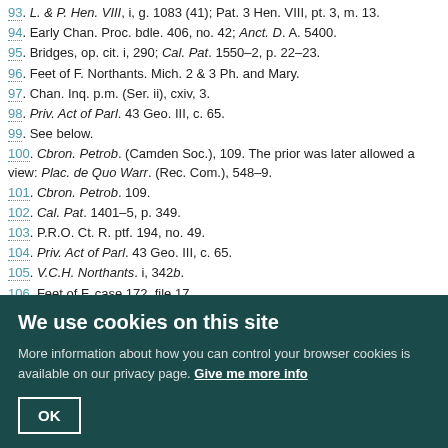93. L. & P. Hen. VIII, i, g. 1083 (41); Pat. 3 Hen. VIII, pt. 3, m. 13.
94. Early Chan. Proc. bdle. 406, no. 42; Anct. D. A. 5400.
95. Bridges, op. cit. i, 290; Cal. Pat. 1550–2, p. 22–23.
96. Feet of F. Northants. Mich. 2 & 3 Ph. and Mary.
97. Chan. Inq. p.m. (Ser. ii), cxiv, 3.
98. Priv. Act of Parl. 43 Geo. III, c. 65.
99. See below.
100. Cbron. Petrob. (Camden Soc.), 109. The prior was later allowed a view: Plac. de Quo Warr. (Rec. Com.), 548–9.
101. Cbron. Petrob. 109.
102. Cal. Pat. 1401–5, p. 349.
103. P.R.O. Ct. R. ptf. 194, no. 49.
104. Priv. Act of Parl. 43 Geo. III, c. 65.
105. V.C.H. Northants. i, 342b.
106. Feet of F. case 172, file 17.
107. Stowe MS. (B.M.), 925, fols. 152, 152d, 153; Feet of F. case 173, file 40,. no. 657; Mich. 2 & 3 Ph. and Mary.
108. Rent & Surv. (P.R.O.) ptf. 20, no. 15.
109. It was of comparatively modern date.
110. The massive stonework beneath the eastern piers of the present nave suggests that the early nave extended farther east, but the length seems abnormal for an early 12th-century building.
We use cookies on this site
More information about how you can control your browser cookies is available on our privacy page. Give me more info